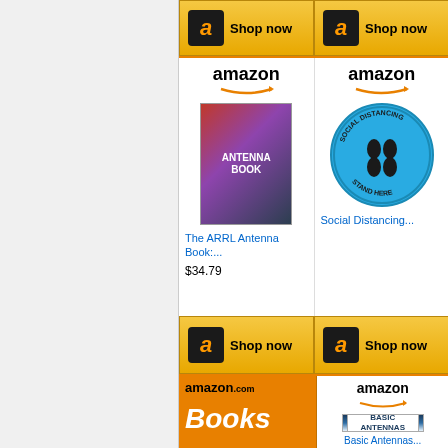[Figure (screenshot): Amazon 'Shop now' button (top left) with Amazon icon and gold background]
[Figure (screenshot): Amazon 'Shop now' button (top right) with Amazon icon and gold background]
[Figure (photo): Amazon product card for 'The ARRL Antenna Book' showing book cover, amazon logo, price $34.79]
[Figure (photo): Amazon product card for 'Social Distancing...' showing blue circular floor sticker with footprints and 'STAND HERE' text]
[Figure (screenshot): Amazon 'Shop now' button (middle left) with Amazon icon and gold background]
[Figure (screenshot): Amazon 'Shop now' button (middle right) with Amazon icon and gold background]
[Figure (screenshot): Amazon.com Books orange advertisement with 'Books' text]
[Figure (photo): Amazon product card for 'Basic Antennas' book with amazon logo]